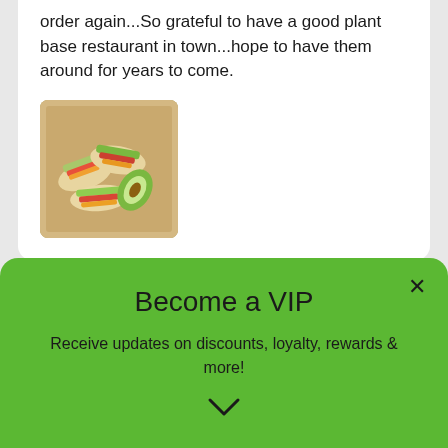order again...So grateful to have a good plant base restaurant in town...hope to have them around for years to come.
[Figure (photo): Photo of food items, appears to be tacos or wraps in a cardboard box, viewed from above]
Shayla
9 months ago
Butter Bread K...
Become a VIP
Receive updates on discounts, loyalty, rewards & more!